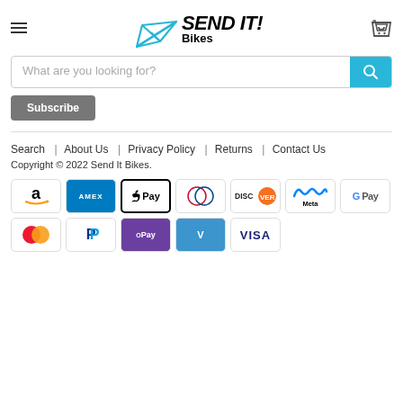[Figure (logo): Send It Bikes logo with paper airplane icon in blue and bold italic SEND IT! text with Bikes subtitle]
[Figure (screenshot): Search bar with placeholder text 'What are you looking for?' and blue search button with magnifying glass icon]
[Figure (screenshot): Partially visible Subscribe button in gray]
Search | About Us | Privacy Policy | Returns | Contact Us
Copyright © 2022 Send It Bikes.
[Figure (infographic): Payment method icons: Amazon, American Express, Apple Pay, Diners Club, Discover, Meta Pay, Google Pay, Mastercard, PayPal, OPay, Venmo, Visa]